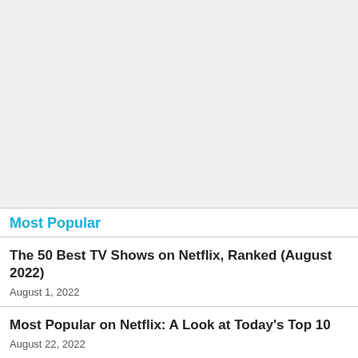[Figure (other): Advertisement or placeholder area with light gray background]
Most Popular
The 50 Best TV Shows on Netflix, Ranked (August 2022)
August 1, 2022
Most Popular on Netflix: A Look at Today's Top 10
August 22, 2022